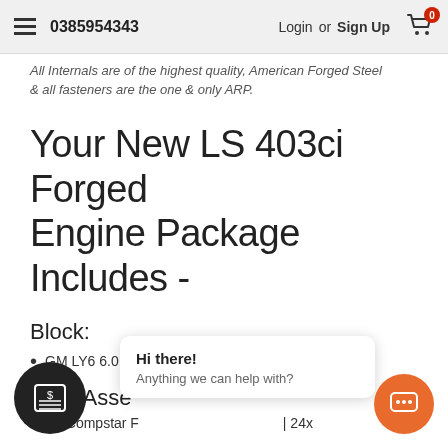0385954343  Login or Sign Up  0
All Internals are of the highest quality, American Forged Steel & all fasteners are the one & only ARP.
Your New LS 403ci Forged Engine Package Includes -
Block:
GM LY6 6.0 Cast Iron Engine Block
ating Asse
allies Compstar F  | 24x